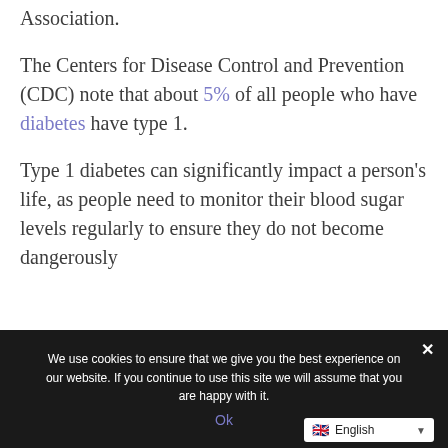Association.
The Centers for Disease Control and Prevention (CDC) note that about 5% of all people who have diabetes have type 1.
Type 1 diabetes can significantly impact a person's life, as people need to monitor their blood sugar levels regularly to ensure they do not become dangerously
We use cookies to ensure that we give you the best experience on our website. If you continue to use this site we will assume that you are happy with it.
Ok